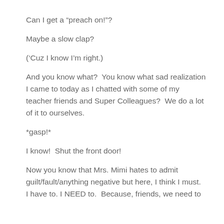Can I get a “preach on!”?
Maybe a slow clap?
(‘Cuz I know I’m right.)
And you know what?  You know what sad realization I came to today as I chatted with some of my teacher friends and Super Colleagues?  We do a lot of it to ourselves.
*gasp!*
I know!  Shut the front door!
Now you know that Mrs. Mimi hates to admit guilt/fault/anything negative but here, I think I must.  I have to. I NEED to.  Because, friends, we need to